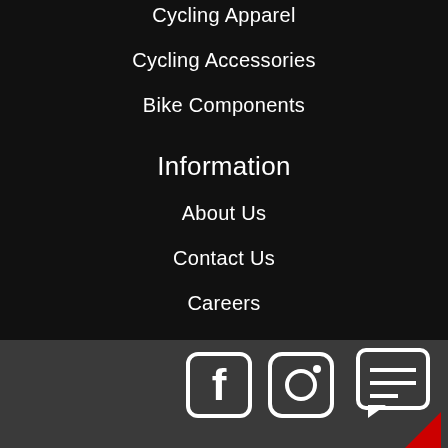Cycling Apparel
Cycling Accessories
Bike Components
Information
About Us
Contact Us
Careers
Financing
[Figure (other): Footer bar with Facebook icon, Instagram icon, and chat/message icon on dark gray background]